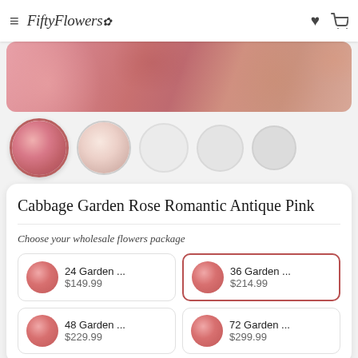FiftyFlowers
[Figure (photo): Close-up photo of pink and antique rose blooms, showing petals texture in pink and coral tones]
[Figure (photo): Thumbnail row: first thumbnail shows cluster of pink roses (selected/active), second shows a light pink single rose, followed by three empty/gray placeholder circles]
Cabbage Garden Rose Romantic Antique Pink
Choose your wholesale flowers package
24 Garden ... $149.99
36 Garden ... $214.99
48 Garden ... $229.99
72 Garden ... $299.99